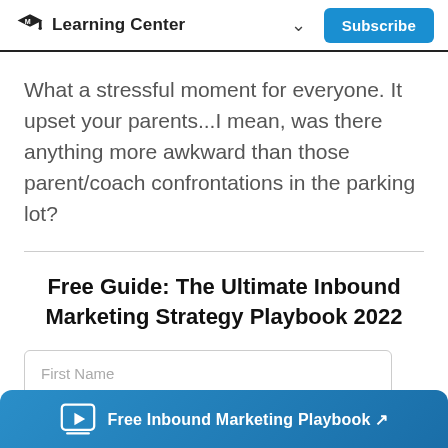Learning Center  Subscribe
What a stressful moment for everyone. It upset your parents...I mean, was there anything more awkward than those parent/coach confrontations in the parking lot?
Free Guide: The Ultimate Inbound Marketing Strategy Playbook 2022
First Name
Free Inbound Marketing Playbook ↗